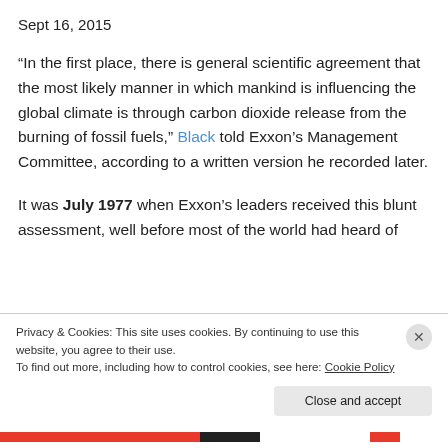Sept 16, 2015
“In the first place, there is general scientific agreement that the most likely manner in which mankind is influencing the global climate is through carbon dioxide release from the burning of fossil fuels,” Black told Exxon’s Management Committee, according to a written version he recorded later.
It was July 1977 when Exxon’s leaders received this blunt assessment, well before most of the world had heard of the...
Privacy & Cookies: This site uses cookies. By continuing to use this website, you agree to their use.
To find out more, including how to control cookies, see here: Cookie Policy
Close and accept